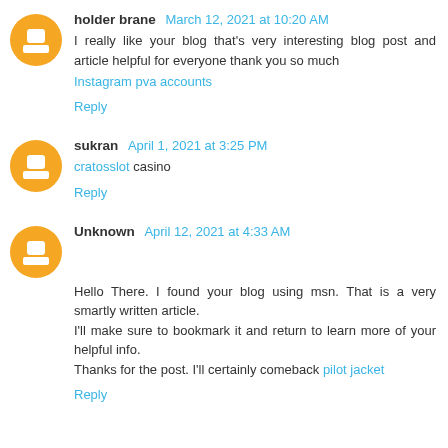holder brane March 12, 2021 at 10:20 AM
I really like your blog that's very interesting blog post and article helpful for everyone thank you so much
Instagram pva accounts
Reply
sukran April 1, 2021 at 3:25 PM
cratosslot casino
Reply
Unknown April 12, 2021 at 4:33 AM
Hello There. I found your blog using msn. That is a very smartly written article.
I'll make sure to bookmark it and return to learn more of your helpful info.
Thanks for the post. I'll certainly comeback pilot jacket
Reply